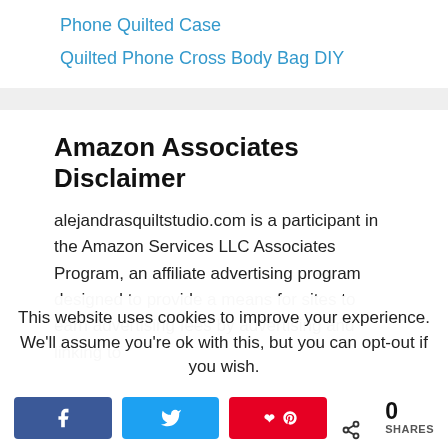Phone Quilted Case
Quilted Phone Cross Body Bag DIY
Amazon Associates Disclaimer
alejandrasquiltstudio.com is a participant in the Amazon Services LLC Associates Program, an affiliate advertising program designed to provide a means for sites to earn advertising fees by advertising and linking to
This website uses cookies to improve your experience. We'll assume you're ok with this, but you can opt-out if you wish.
0 SHARES